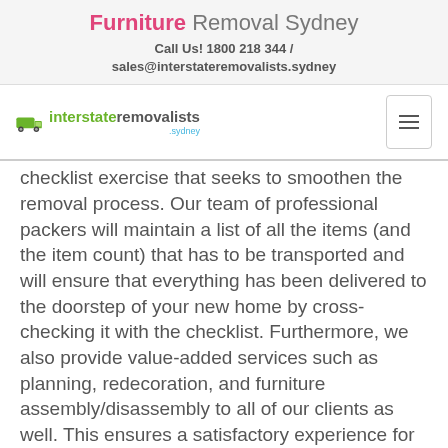Furniture Removal Sydney
Call Us! 1800 218 344 / sales@interstateremovalists.sydney
[Figure (logo): Interstate Removalists Sydney logo with green truck icon and text]
checklist exercise that seeks to smoothen the removal process. Our team of professional packers will maintain a list of all the items (and the item count) that has to be transported and will ensure that everything has been delivered to the doorstep of your new home by cross-checking it with the checklist. Furthermore, we also provide value-added services such as planning, redecoration, and furniture assembly/disassembly to all of our clients as well. This ensures a satisfactory experience for our customers